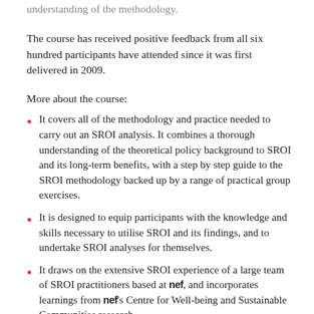understanding of the methodology.
The course has received positive feedback from all six hundred participants have attended since it was first delivered in 2009.
More about the course:
It covers all of the methodology and practice needed to carry out an SROI analysis. It combines a thorough understanding of the theoretical policy background to SROI and its long-term benefits, with a step by step guide to the SROI methodology backed up by a range of practical group exercises.
It is designed to equip participants with the knowledge and skills necessary to utilise SROI and its findings, and to undertake SROI analyses for themselves.
It draws on the extensive SROI experience of a large team of SROI practitioners based at nef, and incorporates learnings from nef's Centre for Well-being and Sustainable Communities research.